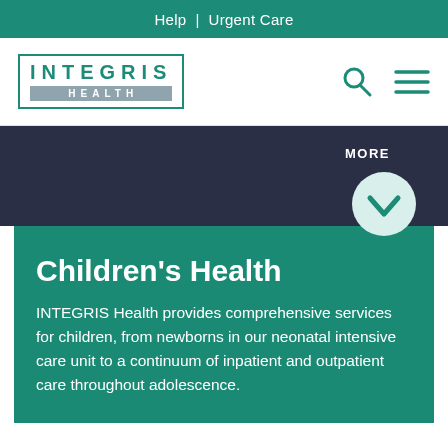Help | Urgent Care
[Figure (logo): INTEGRIS HEALTH logo in teal green with bold lettering]
[Figure (other): Search icon and hamburger menu icon in teal green]
MORE
[Figure (other): Light teal circle with white chevron/checkmark icon]
Children's Health
INTEGRIS Health provides comprehensive services for children, from newborns in our neonatal intensive care unit to a continuum of inpatient and outpatient care throughout adolescence.